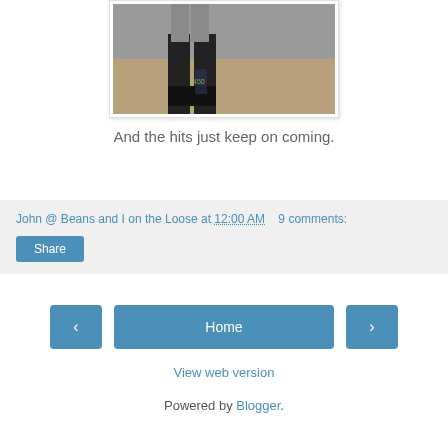[Figure (photo): A person standing in dark pants and a grey top on a wooden floor, photographed from approximately waist down.]
And the hits just keep on coming.
John @ Beans and I on the Loose at 12:00 AM    9 comments:
Share
Home
View web version
Powered by Blogger.